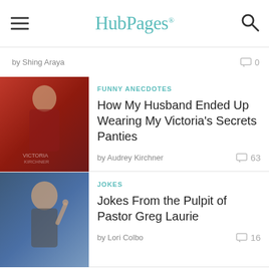HubPages
by Shing Araya  0
[Figure (photo): Woman in red outfit - Victoria's Secret related image]
FUNNY ANECDOTES
How My Husband Ended Up Wearing My Victoria's Secrets Panties
by Audrey Kirchner  63
[Figure (photo): Man (Pastor Greg Laurie) pointing with finger, smiling]
JOKES
Jokes From the Pulpit of Pastor Greg Laurie
by Lori Colbo  16